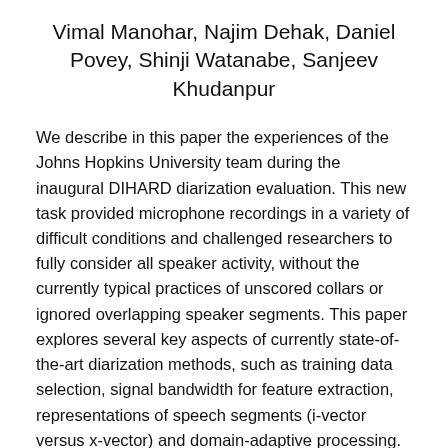Vimal Manohar, Najim Dehak, Daniel Povey, Shinji Watanabe, Sanjeev Khudanpur
We describe in this paper the experiences of the Johns Hopkins University team during the inaugural DIHARD diarization evaluation. This new task provided microphone recordings in a variety of difficult conditions and challenged researchers to fully consider all speaker activity, without the currently typical practices of unscored collars or ignored overlapping speaker segments. This paper explores several key aspects of currently state-of-the-art diarization methods, such as training data selection, signal bandwidth for feature extraction, representations of speech segments (i-vector versus x-vector) and domain-adaptive processing. In the end, our best system clustered x-vector embeddings trained on wideband microphone data followed by Variational-Bayesian refinement and speaker activity detection to